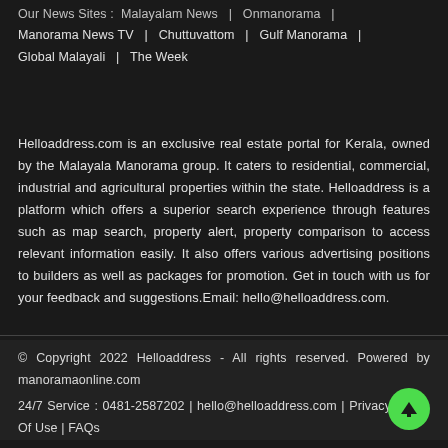Our News Sites: Malayalam News | Onmanorama | Manorama News TV | Chuttuvattom | Gulf Manorama | Global Malayali | The Week
Helloaddress.com is an exclusive real estate portal for Kerala, owned by the Malayala Manorama group. It caters to residential, commercial, industrial and agricultural properties within the state. Helloaddress is a platform which offers a superior search experience through features such as map search, property alert, property comparison to access relevant information easily. It also offers various advertising positions to builders as well as packages for promotion. Get in touch with us for your feedback and suggestions.Email: hello@helloaddress.com.
© Copyright 2022 Helloaddress - All rights reserved. Powered by manoramaonline.com
24/7 Service : 0481-2587202 | hello@helloaddress.com | Privacy Terms Of Use | FAQs